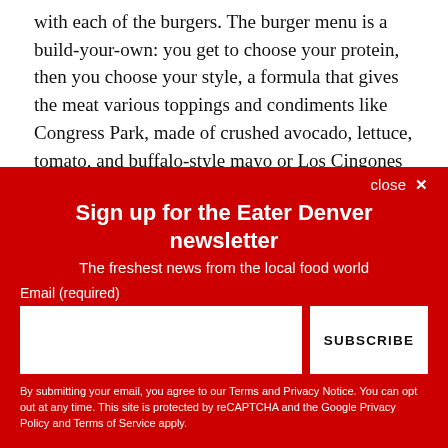with each of the burgers. The burger menu is a build-your-own: you get to choose your protein, then you choose your style, a formula that gives the meat various toppings and condiments like Congress Park, made of crushed avocado, lettuce, tomato, and buffalo-style mayo or Los Cingones that includes Baja slaw, chicharones, griddled cotija, black bean puree, and Cholula aioli.
The...
Sign up for the Eater Denver newsletter
The freshest news from the local food world
Email (required)
SUBSCRIBE
By submitting your email, you agree to our Terms and Privacy Notice. You can opt out at any time. This site is protected by reCAPTCHA and the Google Privacy Policy and Terms of Service apply.